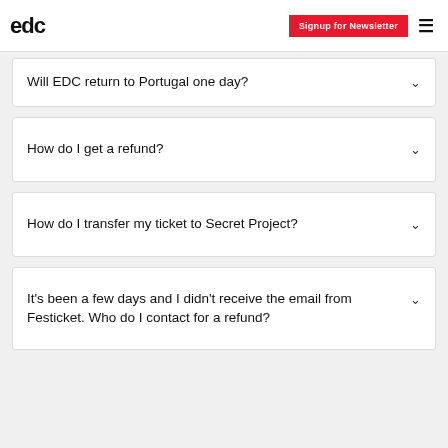edc | Signup for Newsletter
Will EDC return to Portugal one day?
How do I get a refund?
How do I transfer my ticket to Secret Project?
It's been a few days and I didn't receive the email from Festicket. Who do I contact for a refund?